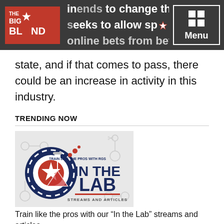THE BIG BLIND [logo] | intends to change things. Through his bill, seeks to allow sportsbooks to accept online bets from bettors anywhere in the | Menu
state, and if that comes to pass, there could be an increase in activity in this industry.
TRENDING NOW
[Figure (logo): In the Lab poker training logo — dark blue poker chip with red flask/star icon, text 'IN THE LAB', 'TRAIN LIKE THE PROS WITH RGS', 'STREAMS AND ARTICLES' on grey background]
Train like the pros with our “In the Lab” streams and articles